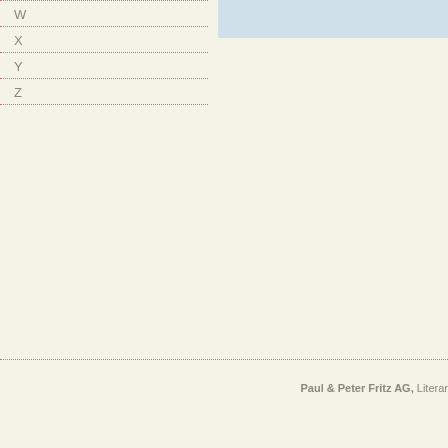[Figure (other): Light blue rectangle in the upper right area of the page]
W
X
Y
Z
Paul & Peter Fritz AG, Literar